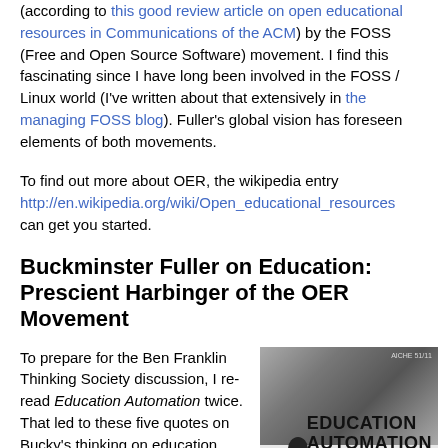(according to this good review article on open educational resources in Communications of the ACM) by the FOSS (Free and Open Source Software) movement. I find this fascinating since I have long been involved in the FOSS / Linux world (I've written about that extensively in the managing FOSS blog). Fuller's global vision has foreseen elements of both movements.
To find out more about OER, the wikipedia entry http://en.wikipedia.org/wiki/Open_educational_resources can get you started.
Buckminster Fuller on Education: Prescient Harbinger of the OER Movement
To prepare for the Ben Franklin Thinking Society discussion, I re-read Education Automation twice. That led to these five quotes on Bucky's thinking on education including how he foresaw elements of the OER Movement. The quotes and my commentary expand the discussion to address some broader issues in education as well. The quotes are all from Education Automation which
[Figure (photo): Book cover of 'Education Automation' showing bold text on lower right and a silhouette of a figure on the lower left against a grey background]